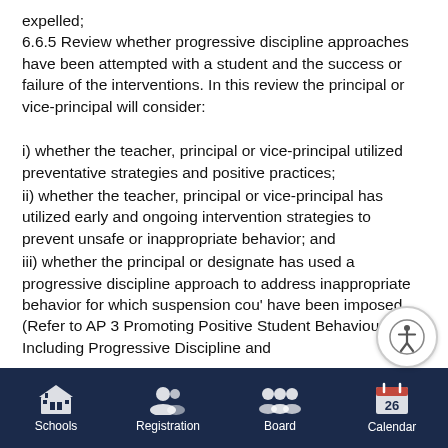expelled;
6.6.5 Review whether progressive discipline approaches have been attempted with a student and the success or failure of the interventions. In this review the principal or vice-principal will consider:
i) whether the teacher, principal or vice-principal utilized preventative strategies and positive practices;
ii) whether the teacher, principal or vice-principal has utilized early and ongoing intervention strategies to prevent unsafe or inappropriate behavior; and
iii) whether the principal or designate has used a progressive discipline approach to address inappropriate behavior for which suspension cou' have been imposed. (Refer to AP 3 Promoting Positive Student Behaviou. Including Progressive Discipline and
Schools | Registration | Board | Calendar